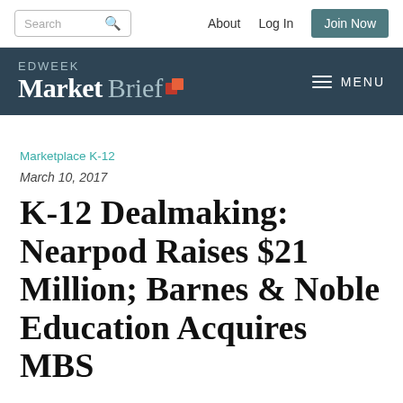Search | About | Log In | Join Now
[Figure (logo): EDWEEK Market Brief logo with search bar, About, Log In, Join Now navigation]
Marketplace K-12
March 10, 2017
K-12 Dealmaking: Nearpod Raises $21 Million; Barnes & Noble Education Acquires MBS